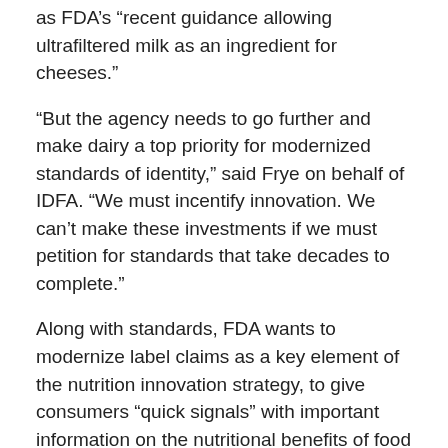as FDA's “recent guidance allowing ultrafiltered milk as an ingredient for cheeses.”
“But the agency needs to go further and make dairy a top priority for modernized standards of identity,” said Frye on behalf of IDFA. “We must incentify innovation. We can’t make these investments if we must petition for standards that take decades to complete.”
Along with standards, FDA wants to modernize label claims as a key element of the nutrition innovation strategy, to give consumers “quick signals” with important information on the nutritional benefits of food choices.
A key question FDA is looking at is: What claims best stimulate innovation to create products that are better choices?